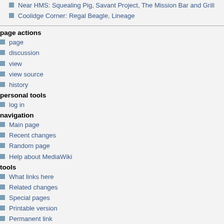Near HMS: Squealing Pig, Savant Project, The Mission Bar and Grill
Coolidge Corner: Regal Beagle, Lineage
page actions
page
discussion
view
view source
history
personal tools
log in
navigation
Main page
Recent changes
Random page
Help about MediaWiki
tools
What links here
Related changes
Special pages
Printable version
Permanent link
Page information